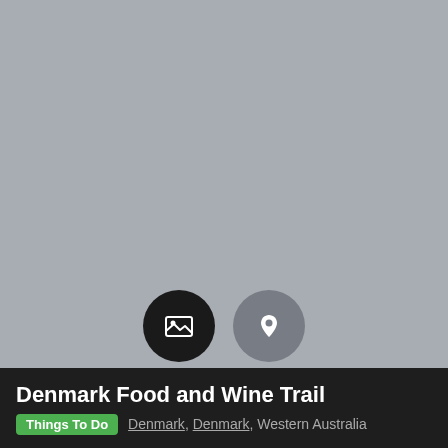[Figure (photo): Gray placeholder image area with two circular icons — a black circle with a photo/image icon and a gray circle with a location pin icon]
Denmark Food and Wine Trail
Things To Do   Denmark, Denmark, Western Australia